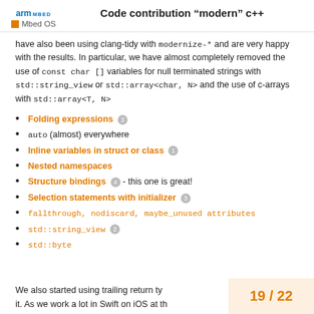Code contribution “modern” c++
Mbed OS
have also been using clang-tidy with modernize-* and are very happy with the results. In particular, we have almost completely removed the use of const char [] variables for null terminated strings with std::string_view or std::array<char, N> and the use of c-arrays with std::array<T, N>
Folding expressions 3
auto (almost) everywhere
Inline variables in struct or class 1
Nested namespaces
Structure bindings 4 - this one is great!
Selection statements with initializer 3
fallthrough, nodiscard, maybe_unused attributes
std::string_view 2
std::byte
We also started using trailing return ty... it. As we work a lot in Swift on iOS at th...
19 / 22